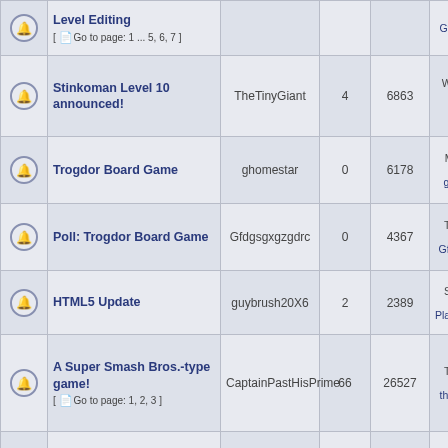|  | Topic | Author | Replies | Views | Last Post |
| --- | --- | --- | --- | --- | --- |
| [icon] | Level Editing [ Go to page: 1 ... 5, 6, 7 ] | Gfdgsgxgzg... |  |  | Gfdgsgxgzg... |
| [icon] | Stinkoman Level 10 announced! | TheTinyGiant | 4 | 6863 | Wed Dec 23, 202 ??? |
| [icon] | Trogdor Board Game | ghomestar | 0 | 6178 | Mon Jul 29, 201 ghomesta... |
| [icon] | Poll: Trogdor Board Game | Gfdgsgxgzgdrc | 0 | 4367 | Tue Mar 20, 201 Gfdgsgxgzg... |
| [icon] | HTML5 Update | guybrush20X6 | 2 | 2389 | Sun Jan 14, 201 PlaysetsandToys... |
| [icon] | A Super Smash Bros.-type game! [ Go to page: 1, 2, 3 ] | CaptainPastHisPrime | 66 | 26527 | Tue Feb 14, 201 thisisawebs... |
| [icon] | Custom Stinkoman level website? Superjoe? | Zim Del Invasor | 2 | 2165 | Fri Oct 09, 201 PlaysetsandToys... |
| [icon] | Poll: A battle between the 2 most popular games... | mcbob65 | 20 | 8728 | Sun Apr 12, 201 Gfdgsgxgzg... |